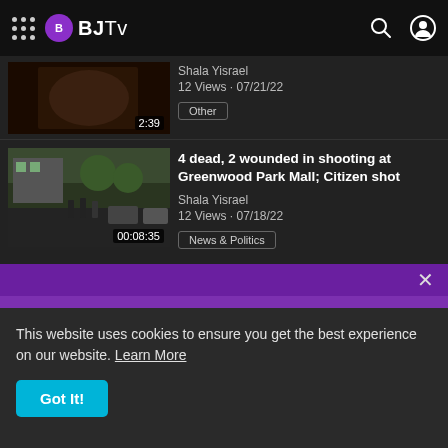BJTv
Shala Yisrael
12 Views · 07/21/22
Other
2:39
4 dead, 2 wounded in shooting at Greenwood Park Mall; Citizen shot
Shala Yisrael
12 Views · 07/18/22
News & Politics
00:08:35
4 Dead, 100's Injured After Colombian Bullfighting Arena
This website uses cookies to ensure you get the best experience on our website. Learn More
Got It!